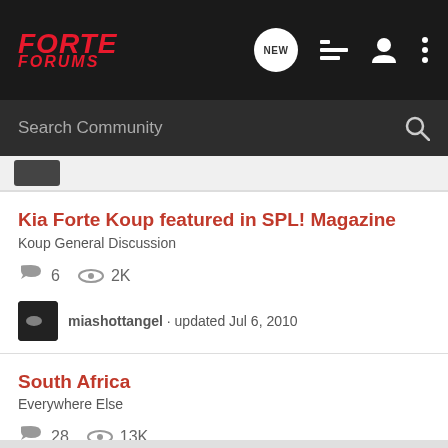FORTE FORUMS
Search Community
Kia Forte Koup featured in SPL! Magazine
Koup General Discussion
6 comments · 2K views · miashottangel · updated Jul 6, 2010
South Africa
Everywhere Else
28 comments · 13K views · ADL · updated Nov 3, 2015